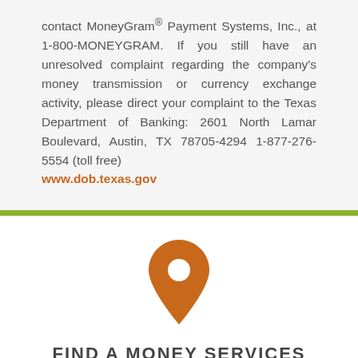contact MoneyGram® Payment Systems, Inc., at 1-800-MONEYGRAM. If you still have an unresolved complaint regarding the company's money transmission or currency exchange activity, please direct your complaint to the Texas Department of Banking: 2601 North Lamar Boulevard, Austin, TX 78705-4294 1-877-276-5554 (toll free) www.dob.texas.gov
[Figure (illustration): Orange map pin / location marker icon]
FIND A MONEY SERVICES